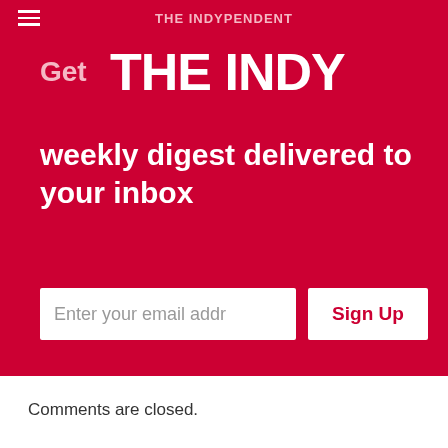THE INDYPENDENT
[Figure (screenshot): Newsletter signup banner with red background showing 'Get THE INDY weekly digest delivered to your inbox' with email input field and Sign Up button]
Comments are closed.